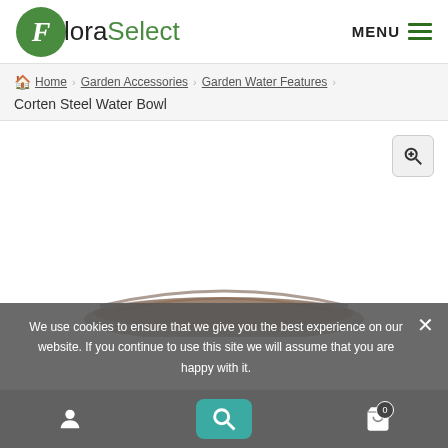[Figure (logo): FloraSelect logo — green circle with italic F, then 'Flora' in dark and 'Select' in green]
MENU
Home > Garden Accessories > Garden Water Features > Corten Steel Water Bowl
[Figure (photo): Product image area for Corten Steel Water Bowl with zoom magnifier button]
We use cookies to ensure that we give you the best experience on our website. If you continue to use this site we will assume that you are happy with it.